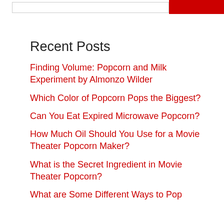Recent Posts
Finding Volume: Popcorn and Milk Experiment by Almonzo Wilder
Which Color of Popcorn Pops the Biggest?
Can You Eat Expired Microwave Popcorn?
How Much Oil Should You Use for a Movie Theater Popcorn Maker?
What is the Secret Ingredient in Movie Theater Popcorn?
What are Some Different Ways to Pop